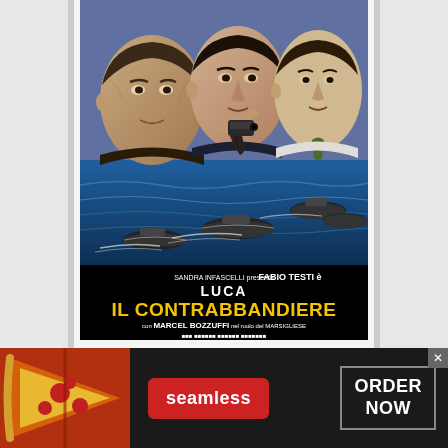[Figure (illustration): Italian movie poster for 'Luca il Contrabbandiere' (Contraband) featuring three men's faces at top (one older man on left, central man pointing a gun at viewer, younger man on right), speedboats on water in middle section, black bottom section with title text. Sandra Infascelli presenta Fabio Testi è / LUCA / IL CONTRABBANDIERE / con MARCEL BOZZUFFI nel ruolo del MARSIGLIESE]
[Figure (screenshot): Seamless food delivery advertisement banner at bottom of screen showing pizza image on left, red Seamless button in center, and 'ORDER NOW' button on right with close X button]